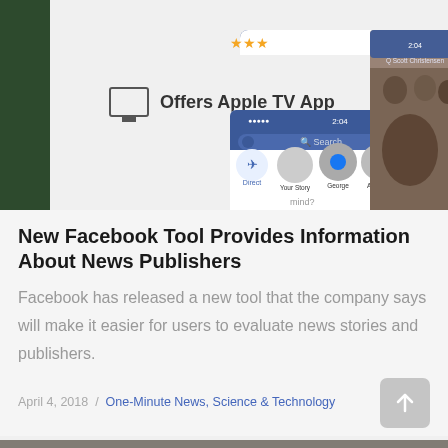[Figure (photo): Screenshot of the Facebook mobile app interface showing the Direct messaging button, Stories (Your Story, George, Amanda, Cathy), and a search bar, overlaid on an Apple TV App store page. Behind is a photo of people.]
New Facebook Tool Provides Information About News Publishers
Facebook has released a new tool that the company says will make it easier for users to evaluate news stories and publishers.
April 4, 2018  /  One-Minute News, Science & Technology
[Figure (photo): Partial image visible at bottom of page, cropped.]